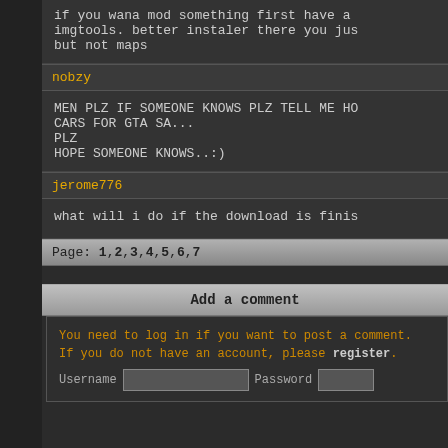if you wana mod something first have a imgtools. better instaler there you jus but not maps
nobzy
MEN PLZ IF SOMEONE KNOWS PLZ TELL ME HO CARS FOR GTA SA...
PLZ
HOPE SOMEONE KNOWS..:)
jerome776
what will i do if the download is finis
Page: 1,2,3,4,5,6,7
Add a comment
You need to log in if you want to post a comment. If you do not have an account, please register.
Username  Password